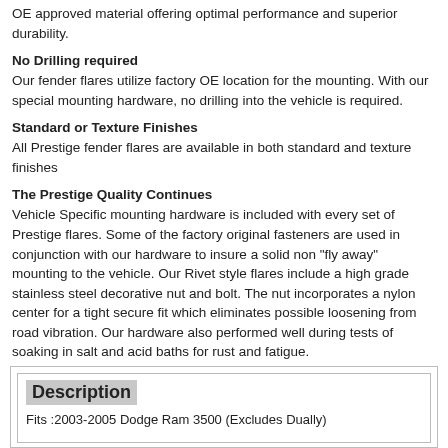OE approved material offering optimal performance and superior durability.
No Drilling required
Our fender flares utilize factory OE location for the mounting. With our special mounting hardware, no drilling into the vehicle is required.
Standard or Texture Finishes
All Prestige fender flares are available in both standard and texture finishes
The Prestige Quality Continues
Vehicle Specific mounting hardware is included with every set of Prestige flares. Some of the factory original fasteners are used in conjunction with our hardware to insure a solid non "fly away" mounting to the vehicle. Our Rivet style flares include a high grade stainless steel decorative nut and bolt. The nut incorporates a nylon center for a tight secure fit which eliminates possible loosening from road vibration. Our hardware also performed well during tests of soaking in salt and acid baths for rust and fatigue.
Description
Fits :2003-2005 Dodge Ram 3500 (Excludes Dually)